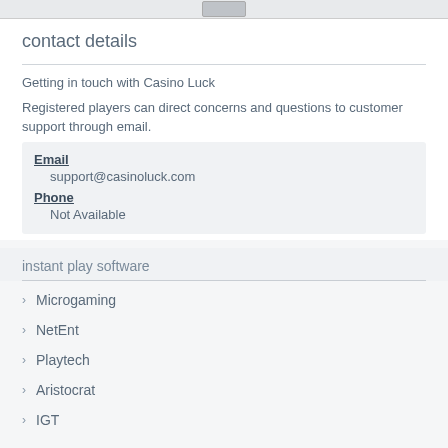contact details
Getting in touch with Casino Luck
Registered players can direct concerns and questions to customer support through email.
| Email | support@casinoluck.com |
| Phone | Not Available |
instant play software
Microgaming
NetEnt
Playtech
Aristocrat
IGT